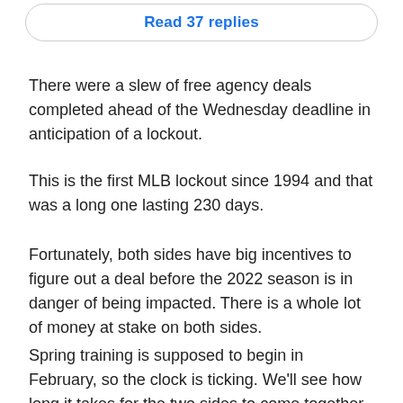[Figure (other): Button with text 'Read 37 replies' in blue, styled as a rounded rectangle outline]
There were a slew of free agency deals completed ahead of the Wednesday deadline in anticipation of a lockout.
This is the first MLB lockout since 1994 and that was a long one lasting 230 days.
Fortunately, both sides have big incentives to figure out a deal before the 2022 season is in danger of being impacted. There is a whole lot of money at stake on both sides.
Spring training is supposed to begin in February, so the clock is ticking. We'll see how long it takes for the two sides to come together with a deal.